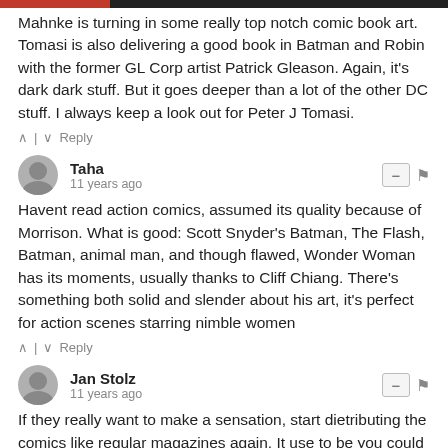Mahnke is turning in some really top notch comic book art. Tomasi is also delivering a good book in Batman and Robin with the former GL Corp artist Patrick Gleason. Again, it's dark dark stuff. But it goes deeper than a lot of the other DC stuff. I always keep a look out for Peter J Tomasi.
^ | v   Reply
Taha
11 years ago
Havent read action comics, assumed its quality because of Morrison. What is good: Scott Snyder's Batman, The Flash, Batman, animal man, and though flawed, Wonder Woman has its moments, usually thanks to Cliff Chiang. There's something both solid and slender about his art, it's perfect for action scenes starring nimble women
^ | v   Reply
Jan Stolz
11 years ago
If they really want to make a sensation, start dietributing the comics like regular magazines again. It use to be you could find comic books in any store in town. Now even the comic